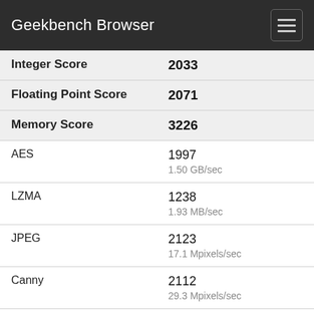Geekbench Browser
| Metric | Score |
| --- | --- |
| Integer Score | 2033 |
| Floating Point Score | 2071 |
| Memory Score | 3226 |
| AES | 1997
1.50 GB/sec |
| LZMA | 1238
1.93 MB/sec |
| JPEG | 2123
17.1 Mpixels/sec |
| Canny | 2112
29.3 Mpixels/sec |
| Lua | 2115
2.17 MB/sec |
| Dijkstra | 1881
1.27 MTE/sec |
| SQLite | 1770 |